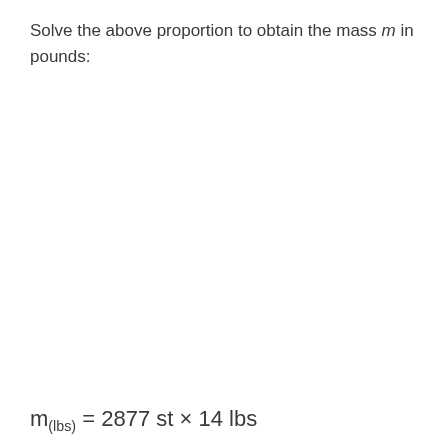Solve the above proportion to obtain the mass m in pounds: